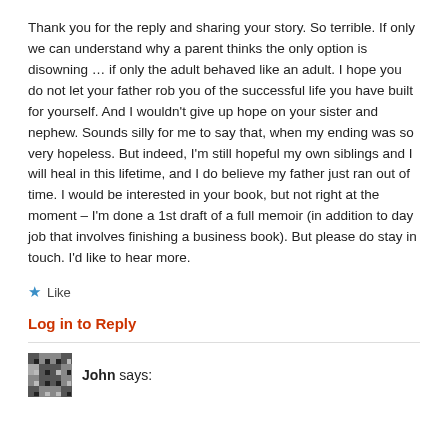Thank you for the reply and sharing your story. So terrible. If only we can understand why a parent thinks the only option is disowning … if only the adult behaved like an adult. I hope you do not let your father rob you of the successful life you have built for yourself. And I wouldn't give up hope on your sister and nephew. Sounds silly for me to say that, when my ending was so very hopeless. But indeed, I'm still hopeful my own siblings and I will heal in this lifetime, and I do believe my father just ran out of time. I would be interested in your book, but not right at the moment – I'm done a 1st draft of a full memoir (in addition to day job that involves finishing a business book). But please do stay in touch. I'd like to hear more.
★ Like
Log in to Reply
John says: